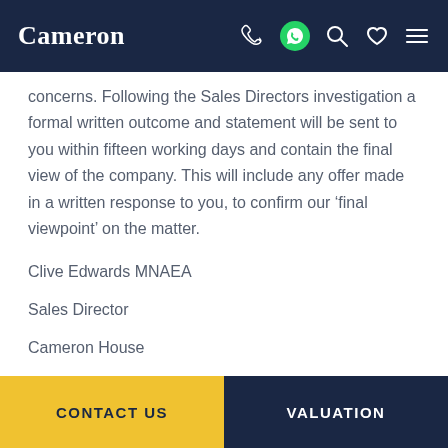Cameron
concerns. Following the Sales Directors investigation a formal written outcome and statement will be sent to you within fifteen working days and contain the final view of the company. This will include any offer made in a written response to you, to confirm our ‘final viewpoint’ on the matter.
Clive Edwards MNAEA
Sales Director
Cameron House
21-23 High Street
CONTACT US   VALUATION